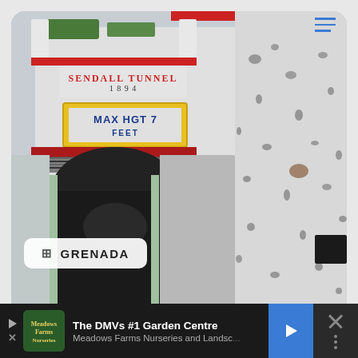[Figure (photo): Entrance to Sendall Tunnel, Grenada, built 1894. White-painted stone archway with red trim and green roof plants. Sign reads 'SENDALL TUNNEL 1894' with a yellow-framed sign below reading 'MAX HGT 7 FEET'. The tunnel opening is visible as a dark arch. Right side shows a textured white stone wall.]
GRENADA
The DMVs #1 Garden Centre
Meadows Farms Nurseries and Landsc...